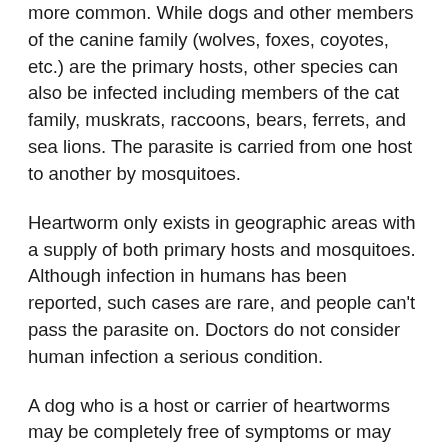more common. While dogs and other members of the canine family (wolves, foxes, coyotes, etc.) are the primary hosts, other species can also be infected including members of the cat family, muskrats, raccoons, bears, ferrets, and sea lions. The parasite is carried from one host to another by mosquitoes.
Heartworm only exists in geographic areas with a supply of both primary hosts and mosquitoes. Although infection in humans has been reported, such cases are rare, and people can't pass the parasite on. Doctors do not consider human infection a serious condition.
A dog who is a host or carrier of heartworms may be completely free of symptoms or may show signs of severe illness. The earliest sign is usually a cough. Further signs include tiring with exercise, collapsing spells, and an enlarged abdomen due to heart failure. Severely infested dogs can die from heartworm disease.